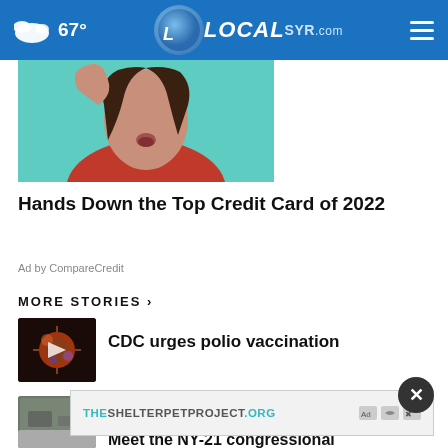67° LOCAL SYR.com
[Figure (photo): Close-up photo of a young woman with dark hair against a teal/turquoise background, wearing a red top, used as advertisement image]
Hands Down the Top Credit Card of 2022
Ad by CompareCredit
MORE STORIES ›
[Figure (photo): Thumbnail image of poliovirus with a play button triangle overlay]
CDC urges polio vaccination
[Figure (photo): Thumbnail image related to I-69 slowdown story]
Temporary slowdown on I-69 near
[Figure (other): Advertisement banner: THESHELTERPETPROJECT.ORG with ad choice icons]
Meet the NY-21 congressional